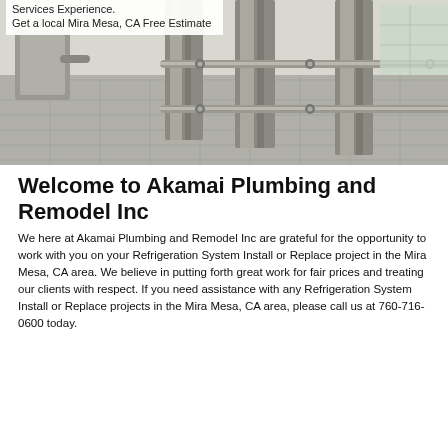Services Experience.
Get a local Mira Mesa, CA Free Estimate
[Figure (photo): Industrial refrigeration system with stainless steel pipes, posts, and fittings on a tiled floor, viewed indoors.]
Welcome to Akamai Plumbing and Remodel Inc
We here at Akamai Plumbing and Remodel Inc are grateful for the opportunity to work with you on your Refrigeration System Install or Replace project in the Mira Mesa, CA area. We believe in putting forth great work for fair prices and treating our clients with respect. If you need assistance with any Refrigeration System Install or Replace projects in the Mira Mesa, CA area, please call us at 760-716-0600 today.